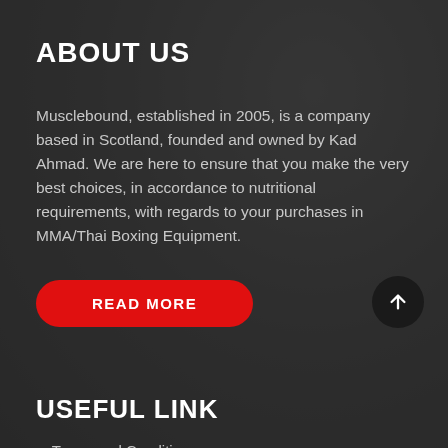ABOUT US
Musclebound, established in 2005, is a company based in Scotland, founded and owned by Kad Ahmad. We are here to ensure that you make the very best choices, in accordance to nutritional requirements, with regards to your purchases in MMA/Thai Boxing Equipment.
READ MORE
USEFUL LINK
Terms and Conditions
Privacy Policy